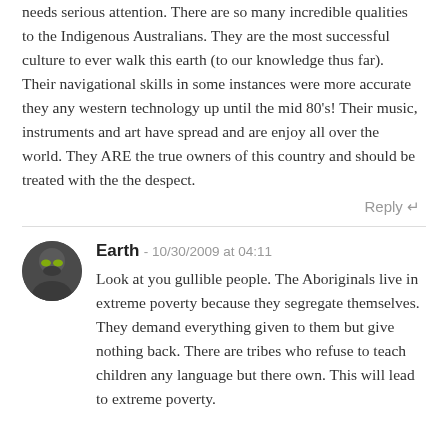needs serious attention. There are so many incredible qualities to the Indigenous Australians. They are the most successful culture to ever walk this earth (to our knowledge thus far). Their navigational skills in some instances were more accurate they any western technology up until the mid 80's! Their music, instruments and art have spread and are enjoy all over the world. They ARE the true owners of this country and should be treated with the the despect.
Reply
Earth - 10/30/2009 at 04:11
Look at you gullible people. The Aboriginals live in extreme poverty because they segregate themselves. They demand everything given to them but give nothing back. There are tribes who refuse to teach children any language but there own. This will lead to extreme poverty.